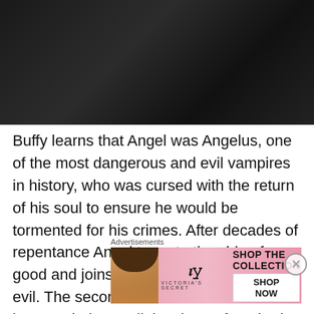[Figure (photo): Dark silhouette photo, likely a person in shadow against a dark background]
Buffy learns that Angel was Angelus, one of the most dangerous and evil vampires in history, who was cursed with the return of his soul to ensure he would be tormented for his crimes. After decades of repentance Angel turns to the side of good and joins Buffy in her fight against evil. The second season of BTVS saw him in an entirely new light when, after sharing a moment of perfect happiness with Buffy, he returns to his demonic counterpart Angelus and brings death and pain upon the
[Figure (advertisement): Victoria's Secret advertisement banner with pink background, model's face, VS logo, 'SHOP THE COLLECTION' text, and 'SHOP NOW' button]